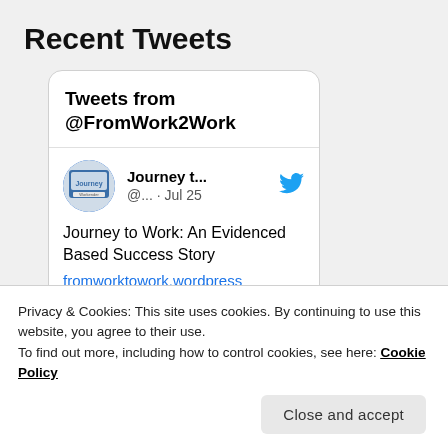Recent Tweets
[Figure (screenshot): Twitter/X embedded tweet widget showing 'Tweets from @FromWork2Work' header, followed by a tweet from 'Journey t...' account (@... · Jul 25) with text 'Journey to Work: An Evidenced Based Success Story' and a link 'fromworktowork.wordpress']
Privacy & Cookies: This site uses cookies. By continuing to use this website, you agree to their use.
To find out more, including how to control cookies, see here: Cookie Policy
Close and accept